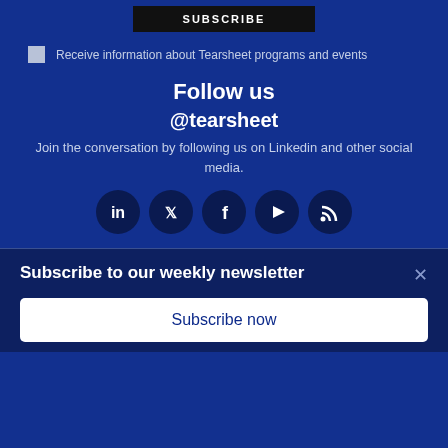SUBSCRIBE
Receive information about Tearsheet programs and events
Follow us
@tearsheet
Join the conversation by following us on Linkedin and other social media.
[Figure (illustration): Five social media icon buttons: LinkedIn, Twitter, Facebook, YouTube, RSS feed]
Subscribe to our weekly newsletter
Subscribe now